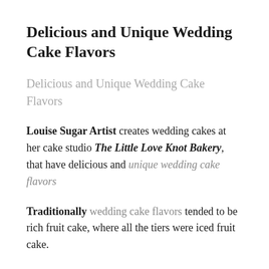Delicious and Unique Wedding Cake Flavors
Delicious and Unique Wedding Cake Flavors
Louise Sugar Artist creates wedding cakes at her cake studio The Little Love Knot Bakery, that have delicious and unique wedding cake flavors
Traditionally wedding cake flavors tended to be rich fruit cake, where all the tiers were iced fruit cake.
Although fruit cake can still be added as a